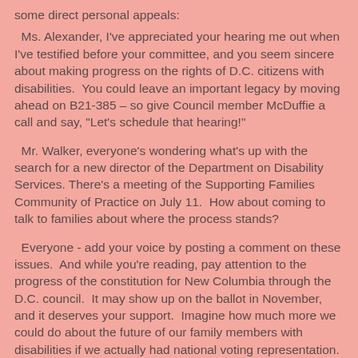some direct personal appeals:
Ms. Alexander, I've appreciated your hearing me out when I've testified before your committee, and you seem sincere about making progress on the rights of D.C. citizens with disabilities.  You could leave an important legacy by moving ahead on B21-385 – so give Council member McDuffie a call and say, "Let's schedule that hearing!"
Mr. Walker, everyone's wondering what's up with the search for a new director of the Department on Disability Services.  There's a meeting of the Supporting Families Community of Practice on July 11.  How about coming to talk to families about where the process stands?
Everyone - add your voice by posting a comment on these issues.  And while you're reading, pay attention to the progress of the constitution for New Columbia through the D.C. council.  It may show up on the ballot in November, and it deserves your support.  Imagine how much more we could do about the future of our family members with disabilities if we actually had national voting representation.